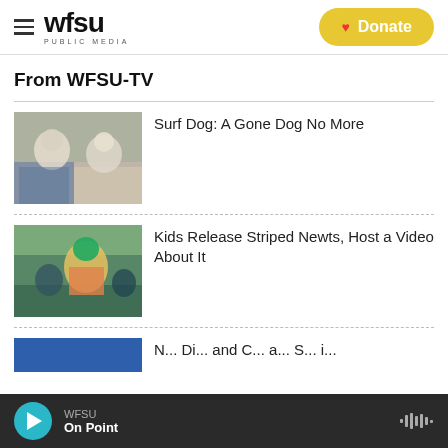WFSU PUBLIC MEDIA | Donate
From WFSU-TV
[Figure (photo): Two elderly people sitting on a couch/outdoor furniture]
Surf Dog: A Gone Dog No More
[Figure (photo): Children in water releasing striped newts, wearing colorful hats]
Kids Release Striped Newts, Host a Video About It
[Figure (photo): Partial blue thumbnail partially visible at bottom]
N... Di... and C... a... S... i...
WFSU | On Point